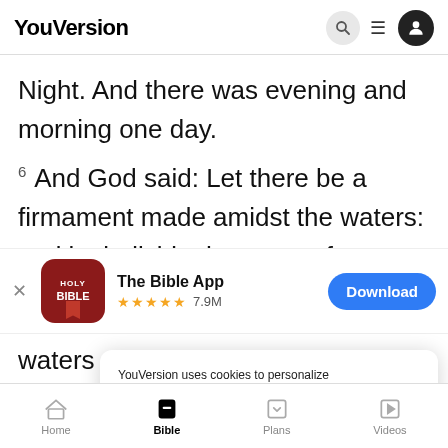YouVersion
Night. And there was evening and morning one day.
6 And God said: Let there be a firmament made amidst the waters: and let it divide the waters from
[Figure (screenshot): The Bible App download banner with Holy Bible app icon, 5 stars, 7.9M rating, and Download button]
waters
that we
YouVersion uses cookies to personalize your experience. By using our website, you accept our use of cookies as described in our Privacy Policy.
Home | Bible | Plans | Videos